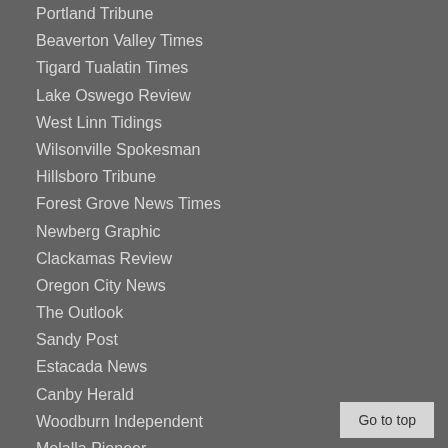Portland Tribune
Beaverton Valley Times
Tigard Tualatin Times
Lake Oswego Review
West Linn Tidings
Wilsonville Spokesman
Hillsboro Tribune
Forest Grove News Times
Newberg Graphic
Clackamas Review
Oregon City News
The Outlook
Sandy Post
Estacada News
Canby Herald
Woodburn Independent
Molalla Pioneer
Columbia County Spotlight
Regal Courier
Sherwood Gazette
The Bee
Southwest Community Connection
Go to top